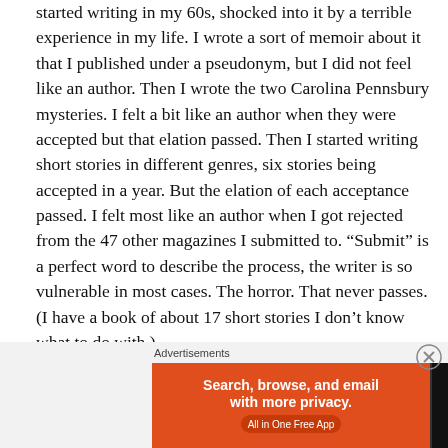started writing in my 60s, shocked into it by a terrible experience in my life. I wrote a sort of memoir about it that I published under a pseudonym, but I did not feel like an author. Then I wrote the two Carolina Pennsbury mysteries. I felt a bit like an author when they were accepted but that elation passed. Then I started writing short stories in different genres, six stories being accepted in a year. But the elation of each acceptance passed. I felt most like an author when I got rejected from the 47 other magazines I submitted to. “Submit” is a perfect word to describe the process, the writer is so vulnerable in most cases. The horror. That never passes. (I have a book of about 17 short stories I don’t know what to do with.)
[Figure (screenshot): DuckDuckGo advertisement banner: orange left panel with text 'Search, browse, and email with more privacy. All in One Free App' and dark right panel with DuckDuckGo duck logo and brand name.]